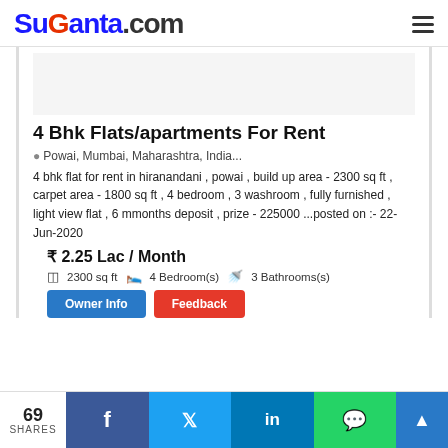SuGanta.com
4 Bhk Flats/apartments For Rent
Powai, Mumbai, Maharashtra, India...
4 bhk flat for rent in hiranandani , powai , build up area - 2300 sq ft , carpet area - 1800 sq ft , 4 bedroom , 3 washroom , fully furnished , light view flat , 6 mmonths deposit , prize - 225000 ...posted on :- 22-Jun-2020
₹ 2.25 Lac / Month
2300 sq ft   4 Bedroom(s)   3 Bathrooms(s)
69 SHARES | Owner Info | Feedback | Facebook | Twitter | LinkedIn | WhatsApp